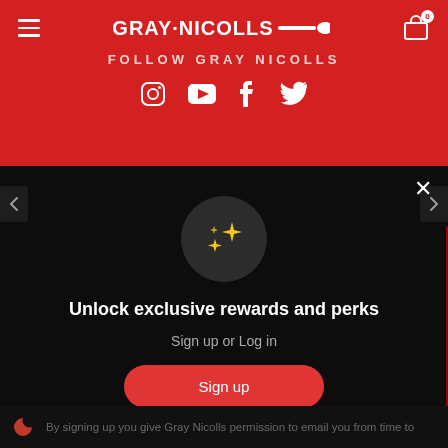GRAY·NICOLLS
FOLLOW GRAY NICOLLS
[Figure (other): Social media icons: Instagram, YouTube, Facebook, Twitter]
[Figure (illustration): Sparkles/stars emoji icon in dark circle]
Unlock exclusive rewards and perks
Sign up or Log in
Sign up
Already have an account? Sign in
By signing up you give Gray Nicolls permission to email you from time to